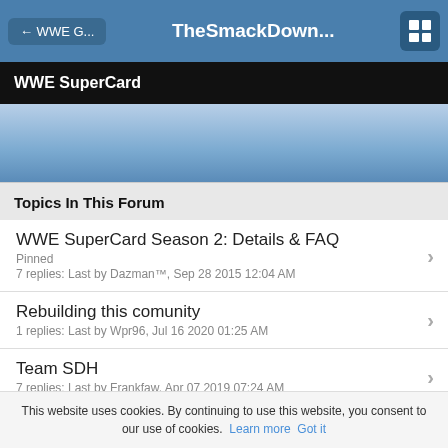← WWE G...   TheSmackDown...
WWE SuperCard
Topics In This Forum
WWE SuperCard Season 2: Details & FAQ
Pinned
7 replies: Last by Dazman™, Sep 28 2015 12:04 AM
Rebuilding this comunity
1 replies: Last by Wpr96, Jul 16 2020 01:25 AM
Team SDH
7 replies: Last by Frankfaw, Apr 07 2019 07:24 AM
Q: Missing Catalogue Cards
2 replies: Last by Aurelian, Jul 27 2018 10:36 PM
WWE SuperCard Season 1 Cards Catalog
This website uses cookies. By continuing to use this website, you consent to our use of cookies. Learn more  Got it